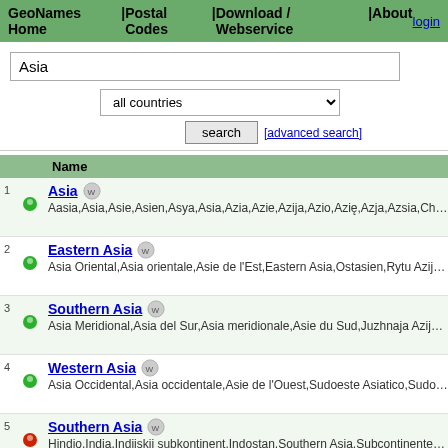GeoNames Home | Postal Codes | Download / Webservice | About  login
Asia (search input)
all countries (dropdown)
search  [advanced search]
1 Asia - Aasia,Asia,Asie,Asien,Asya,Asia,Azia,Azie,Azija,Azio,Azię,Azja,Azsia,Chau A,Châu Á,ajia,a...
2 Eastern Asia - Asia Oriental,Asia orientale,Asie de l'Est,Eastern Asia,Ostasien,Rytu Azija,Rytų Azija,Skhidna...
3 Southern Asia - Asia Meridional,Asia del Sur,Asia meridionale,Asie du Sud,Juzhnaja Azija,Pietu Azija,Pietų Az...
4 Western Asia - Asia Occidental,Asia occidentale,Asie de l'Ouest,Sudoeste Asiatico,Sudoeste Asiático,Vorder...
5 Southern Asia - Hindio,India,Indijskij subkontinent,Indostan,Southern Asia,Subcontinente Indio,Индийский су...
6 Central Asia - Asia Central,Asia centrale,Asie centrale,Central Asia,Central'na Azija,Central'naja Azija,Zentra...
7 South Eastern Asia - Asie du Sud-Est,Jugo-Vostochnaja Azija,Pivdenno-Skhidna Azija,Sud-est asiatico,Sudeste As...
8 Region 1